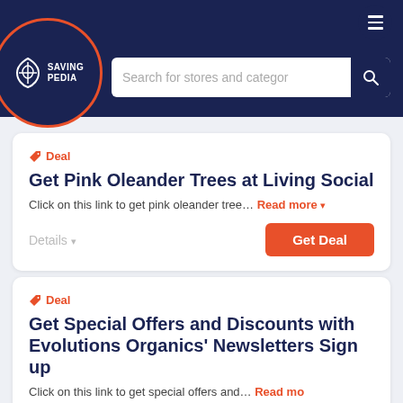[Figure (logo): SavingPedia logo with shield/leaf icon on dark navy circular background with orange border accent, white text reading SAVING PEDIA]
[Figure (screenshot): Search bar with placeholder text 'Search for stores and categories' and a dark navy search button with magnifying glass icon]
Deal
Get Pink Oleander Trees at Living Social
Click on this link to get pink oleander tree... Read more
Details
Get Deal
Deal
Get Special Offers and Discounts with Evolutions Organics' Newsletters Sign up
Click on this link to get special offers and...  Read more